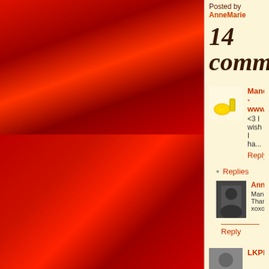[Figure (photo): Red-toned photograph taking up the left portion of the page, showing a dark reddish scene]
Posted by AnneMarie
14 comm
Mandi - www...
<3 I wish I ha...
Reply
▾ Replies
Anne...
Mand... Than... xoxo...
Reply
LKPheartsfo...